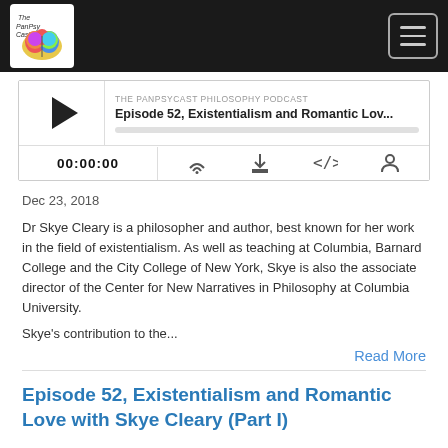[Figure (screenshot): Podcast player widget showing episode 'Episode 52, Existentialism and Romantic Lov...' from THE PANPSYCAST PHILOSOPHY PODCAST, with play button, progress bar, time display 00:00:00 and media control icons]
Dec 23, 2018
Dr Skye Cleary is a philosopher and author, best known for her work in the field of existentialism. As well as teaching at Columbia, Barnard College and the City College of New York, Skye is also the associate director of the Center for New Narratives in Philosophy at Columbia University.
Skye's contribution to the...
Read More
Episode 52, Existentialism and Romantic Love with Skye Cleary (Part I)